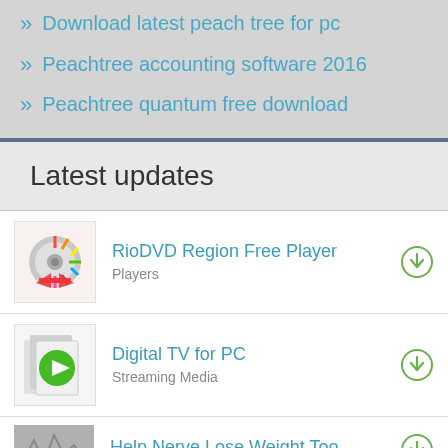Download latest peach tree for pc
Peachtree accounting software 2016
Peachtree quantum free download
Latest updates
RioDVD Region Free Player
Players
Digital TV for PC
Streaming Media
Help Nerve Lose Weight Too...